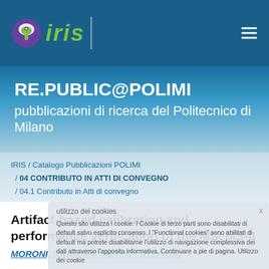[Figure (logo): IRIS logo with green brain icon and text, on dark blue header bar]
RE.PUBLIC@POLIMI
pubblicazioni di ricerca del Politecnico di Milano
IRIS / Catalogo Pubblicazioni POLIMI / 04 CONTRIBUTO IN ATTI DI CONVEGNO / 04.1 Contributo in Atti di convegno
Artifact-based calibration and performance verification of the MScMS-II
MORONI, GIOVANNI; PETRO', STEFANO